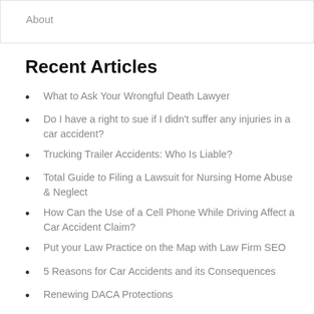About
Recent Articles
What to Ask Your Wrongful Death Lawyer
Do I have a right to sue if I didn't suffer any injuries in a car accident?
Trucking Trailer Accidents: Who Is Liable?
Total Guide to Filing a Lawsuit for Nursing Home Abuse & Neglect
How Can the Use of a Cell Phone While Driving Affect a Car Accident Claim?
Put your Law Practice on the Map with Law Firm SEO
5 Reasons for Car Accidents and its Consequences
Renewing DACA Protections